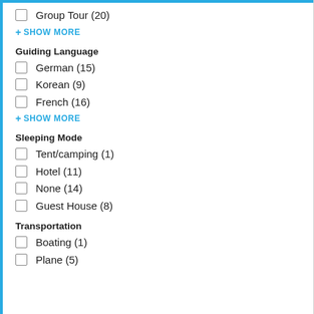Group Tour (20)
+ SHOW MORE
Guiding Language
German (15)
Korean (9)
French (16)
+ SHOW MORE
Sleeping Mode
Tent/camping (1)
Hotel (11)
None (14)
Guest House (8)
Transportation
Boating (1)
Plane (5)